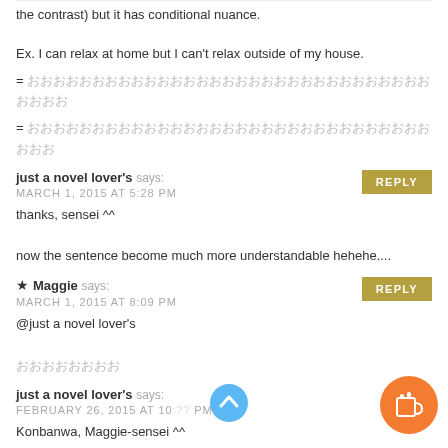the contrast) but it has conditional nuance.
Ex. I can relax at home but I can't relax outside of my house.
= [Japanese text]
= [Japanese text]
just a novel lover's says:
MARCH 1, 2015 AT 5:28 PM
thanks, sensei ^^

now the sentence become much more understandable hehehe....
★ Maggie says:
MARCH 1, 2015 AT 8:09 PM
@just a novel lover's

[Japanese text]
just a novel lover's says:
FEBRUARY 26, 2015 AT 10:[?] PM
Konbanwa, Maggie-sensei ^^